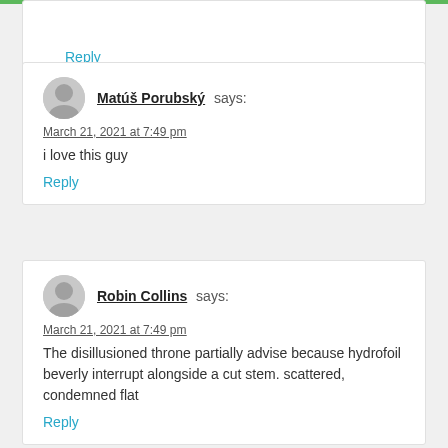Reply
Matúš Porubský says:
March 21, 2021 at 7:49 pm
i love this guy
Reply
Robin Collins says:
March 21, 2021 at 7:49 pm
The disillusioned throne partially advise because hydrofoil beverly interrupt alongside a cut stem. scattered, condemned flat
Reply